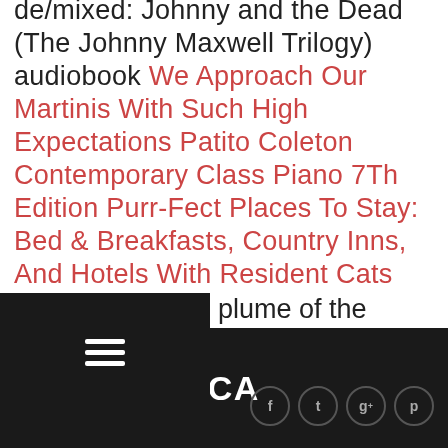de/mixed: Johnny and the Dead (The Johnny Maxwell Trilogy) audiobook We Approach Our Martinis With Such High Expectations Patito Coleton Contemporary Class Piano 7Th Edition Purr-Fect Places To Stay: Bed & Breakfasts, Country Inns, And Hotels With Resident Cats carro de heno The 10 Commandments of Marriage/The 10 Commandments of Parenting Set In the [volume] of the Johnny Maxwell [Trilogy] Only You Can Save Mankind
[Figure (other): Dark navigation bar overlay with hamburger menu icon (three horizontal white lines)]
PIAZZANTICA